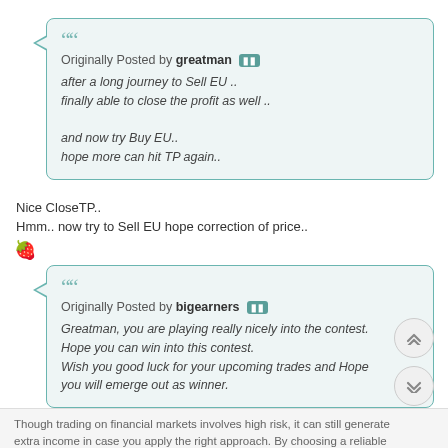Originally Posted by greatman
after a long journey to Sell EU .. finally able to close the profit as well ..

and now try Buy EU.. hope more can hit TP again..
Nice CloseTP..
Hmm.. now try to Sell EU hope correction of price..
Originally Posted by bigearners
Greatman, you are playing really nicely into the contest. Hope you can win into this contest. Wish you good luck for your upcoming trades and Hope you will emerge out as winner.
oh.. thank's friend.. Your support means a lot to me ..
Though trading on financial markets involves high risk, it can still generate extra income in case you apply the right approach. By choosing a reliable